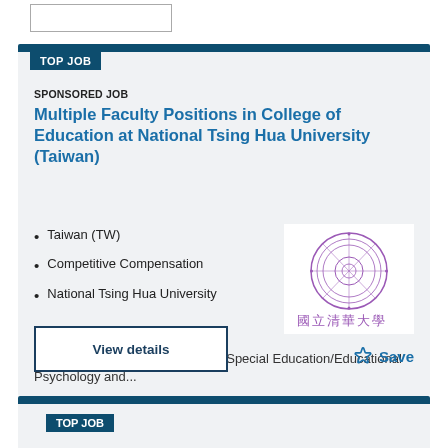[Figure (other): Button stub at top of page]
TOP JOB
SPONSORED JOB
Multiple Faculty Positions in College of Education at National Tsing Hua University (Taiwan)
Taiwan (TW)
Competitive Compensation
National Tsing Hua University
[Figure (logo): National Tsing Hua University seal/logo with Chinese characters 國立清華大學]
Assistant professor and above in Special Education/Educational Psychology and...
View details
Save